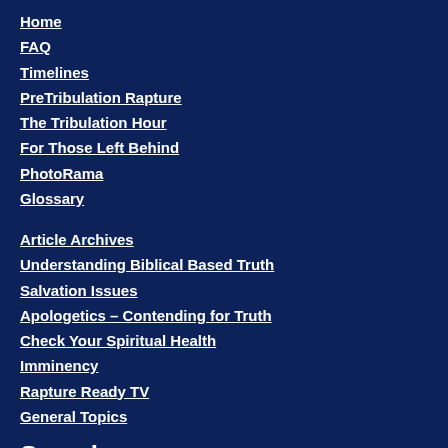Home
FAQ
Timelines
PreTribulation Rapture
The Tribulation Hour
For Those Left Behind
PhotoRama
Glossary
Article Archives
Understanding Biblical Based Truth
Salvation Issues
Apologetics – Contending for Truth
Check Your Spiritual Health
Imminency
Rapture Ready TV
General Topics
Search
ENHANCED BY Google  Translate »